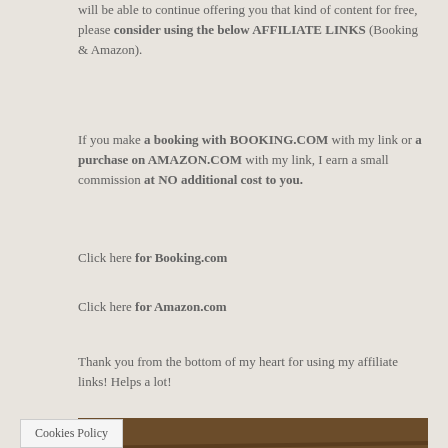will be able to continue offering you that kind of content for free, please consider using the below AFFILIATE LINKS (Booking & Amazon).
If you make a booking with BOOKING.COM with my link or a purchase on AMAZON.COM with my link, I earn a small commission at NO additional cost to you.
Click here for Booking.com
Click here for Amazon.com
Thank you from the bottom of my heart for using my affiliate links! Helps a lot!
[Figure (photo): A plate of caprese salad with sliced tomatoes, fresh mozzarella, basil leaves, and olive oil on a white oval plate, on a wooden table.]
Cookies Policy